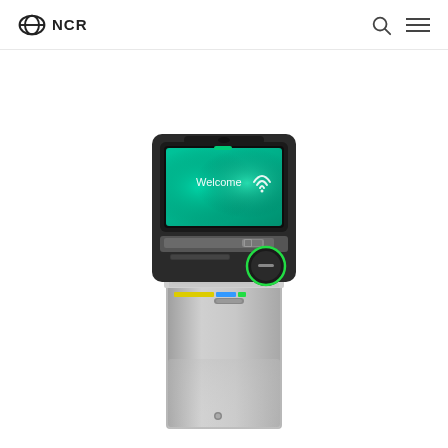NCR
[Figure (photo): NCR ATM kiosk machine with dark top unit featuring a touchscreen displaying a green Welcome screen with wireless/contactless payment icon, card reader slot, receipt printer, PIN pad with green circular button, and a silver/metallic lower cabinet base. The machine is photographed against a white background.]